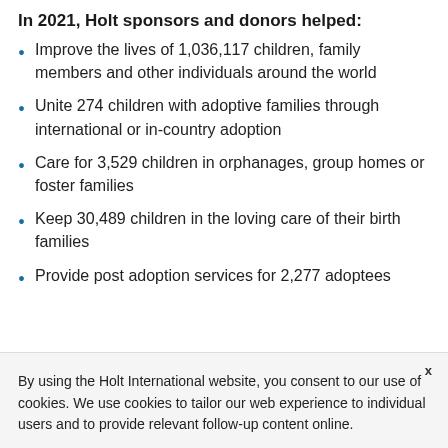In 2021, Holt sponsors and donors helped:
Improve the lives of 1,036,117 children, family members and other individuals around the world
Unite 274 children with adoptive families through international or in-country adoption
Care for 3,529 children in orphanages, group homes or foster families
Keep 30,489 children in the loving care of their birth families
Provide post adoption services for 2,277 adoptees
By using the Holt International website, you consent to our use of cookies. We use cookies to tailor our web experience to individual users and to provide relevant follow-up content online.